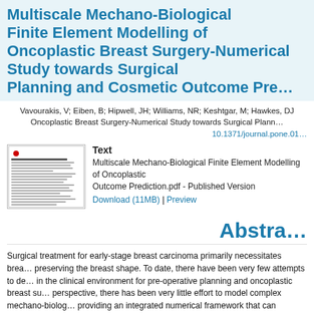Multiscale Mechano-Biological Finite Element Modelling of Oncoplastic Breast Surgery-Numerical Study towards Surgical Planning and Cosmetic Outcome Prediction
Vavourakis, V; Eiben, B; Hipwell, JH; Williams, NR; Keshtgar, M; Hawkes, DJ
Oncoplastic Breast Surgery-Numerical Study towards Surgical Planning
10.1371/journal.pone.0
[Figure (other): Thumbnail image of the paper first page]
Text
Multiscale Mechano-Biological Finite Element Modelling of Oncoplastic Outcome Prediction.pdf - Published Version
Download (11MB) | Preview
Abstract
Surgical treatment for early-stage breast carcinoma primarily necessitates breast-conserving surgery, while preserving the breast shape. To date, there have been very few attempts to develop predictive modelling tools in the clinical environment for pre-operative planning and oncoplastic breast surgery. From a computational perspective, there has been very little effort to model complex mechano-biological processes, while providing an integrated numerical framework that can simulate the therapeutic outcome. A validated, three-dimensional, multiscale finite element procedure that simulates presented. In the proposed methodology, a partitioned, continuum based math